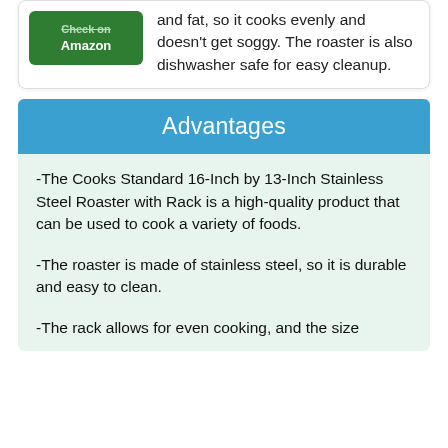and fat, so it cooks evenly and doesn't get soggy. The roaster is also dishwasher safe for easy cleanup.
Advantages
-The Cooks Standard 16-Inch by 13-Inch Stainless Steel Roaster with Rack is a high-quality product that can be used to cook a variety of foods.
-The roaster is made of stainless steel, so it is durable and easy to clean.
-The rack allows for even cooking, and the size